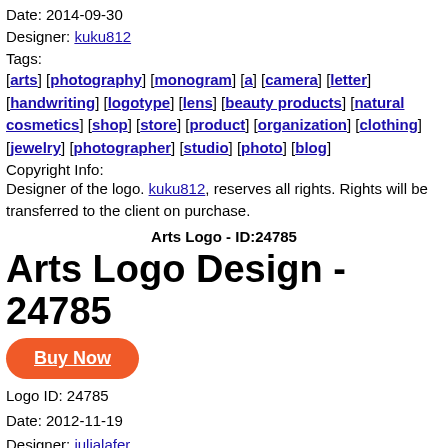Date: 2014-09-30
Designer: kuku812
Tags:
[arts] [photography] [monogram] [a] [camera] [letter] [handwriting] [logotype] [lens] [beauty products] [natural cosmetics] [shop] [store] [product] [organization] [clothing] [jewelry] [photographer] [studio] [photo] [blog]
Copyright Info:
Designer of the logo. kuku812, reserves all rights. Rights will be transferred to the client on purchase.
Arts Logo - ID:24785
Arts Logo Design - 24785
Buy Now
Logo ID: 24785
Date: 2012-11-19
Designer: julialafer
Tags: